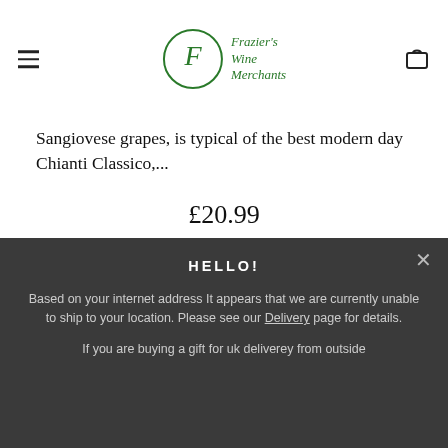Frazier's Wine Merchants
Sangiovese grapes, is typical of the best modern day Chianti Classico,...
£20.99
Quick View
HELLO!
Based on your internet address It appears that we are currently unable to ship to your location. Please see our Delivery page for details.
If you are buying a gift for uk deliverey from outside